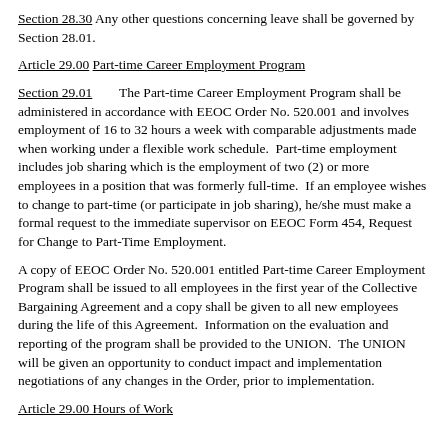Section 28.30  Any other questions concerning leave shall be governed by Section 28.01.
Article 29.00 Part-time Career Employment Program
Section 29.01	The Part-time Career Employment Program shall be administered in accordance with EEOC Order No. 520.001 and involves employment of 16 to 32 hours a week with comparable adjustments made when working under a flexible work schedule.  Part-time employment includes job sharing which is the employment of two (2) or more employees in a position that was formerly full-time.  If an employee wishes to change to part-time (or participate in job sharing), he/she must make a formal request to the immediate supervisor on EEOC Form 454, Request for Change to Part-Time Employment.
A copy of EEOC Order No. 520.001 entitled Part-time Career Employment Program shall be issued to all employees in the first year of the Collective Bargaining Agreement and a copy shall be given to all new employees during the life of this Agreement.  Information on the evaluation and reporting of the program shall be provided to the UNION.  The UNION will be given an opportunity to conduct impact and implementation negotiations of any changes in the Order, prior to implementation.
Article 29.00 Hours of Work